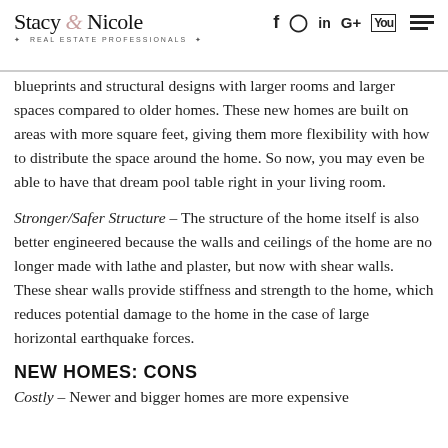Stacy & Nicole · REAL ESTATE PROFESSIONALS · [social icons: f, instagram, in, G+, YouTube, menu]
blueprints and structural designs with larger rooms and larger spaces compared to older homes. These new homes are built on areas with more square feet, giving them more flexibility with how to distribute the space around the home. So now, you may even be able to have that dream pool table right in your living room.
Stronger/Safer Structure – The structure of the home itself is also better engineered because the walls and ceilings of the home are no longer made with lathe and plaster, but now with shear walls. These shear walls provide stiffness and strength to the home, which reduces potential damage to the home in the case of large horizontal earthquake forces.
NEW HOMES: CONS
Costly – Newer and bigger homes are more expensive